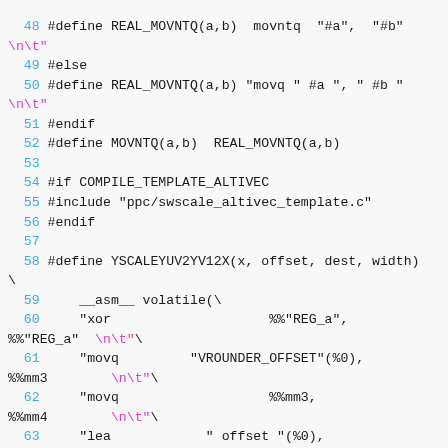[Figure (screenshot): Source code snippet showing C preprocessor macros and inline assembly for video scaling, with line numbers 48-64 visible. Lines include REAL_MOVNTQ, MOVNTQ, COMPILE_TEMPLATE_ALTIVEC, YSCALEYUV2YV12X macro definitions and inline assembly volatile block with xor, movq, lea, mov instructions.]